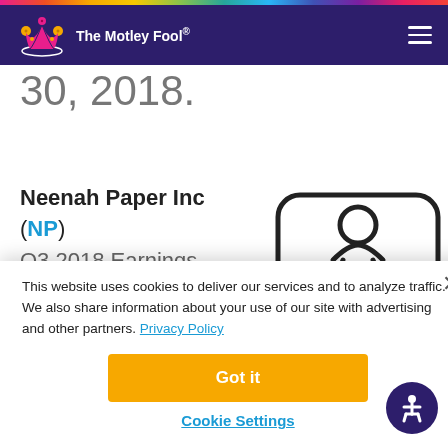The Motley Fool
30, 2018.
Neenah Paper Inc
(NP)
Q3 2018 Earnings
[Figure (illustration): Motley Fool jester hat / person icon illustration]
This website uses cookies to deliver our services and to analyze traffic. We also share information about your use of our site with advertising and other partners. Privacy Policy
Got it
Cookie Settings